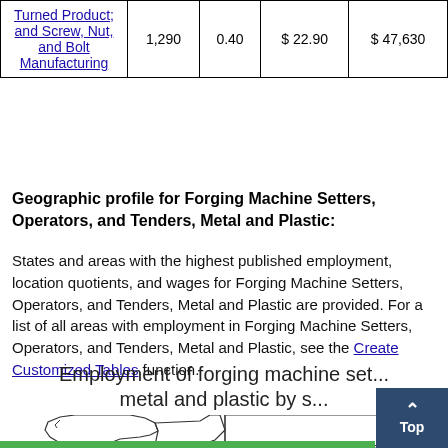| Industry | Employment (1) | Percent of industry employment | Hourly mean wage | Annual mean wage (2) |
| --- | --- | --- | --- | --- |
| Turned Product; and Screw, Nut, and Bolt Manufacturing | 1,290 | 0.40 | $ 22.90 | $ 47,630 |
Geographic profile for Forging Machine Setters, Operators, and Tenders, Metal and Plastic:
States and areas with the highest published employment, location quotients, and wages for Forging Machine Setters, Operators, and Tenders, Metal and Plastic are provided. For a list of all areas with employment in Forging Machine Setters, Operators, and Tenders, Metal and Plastic, see the Create Customized Tables function.
[Figure (map): Partial map showing US states including Washington and surrounding states, illustrating employment of forging machine setters, metal and plastic by state.]
Employment of forging machine setters, metal and plastic by s...